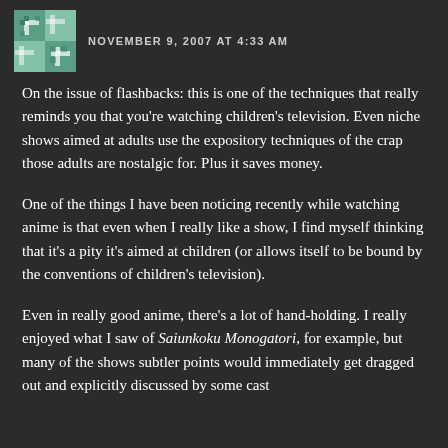NOVEMBER 9, 2007 AT 4:33 AM
On the issue of flashbacks: this is one of the techniques that really reminds you that you're watching children's television. Even niche shows aimed at adults use the expository techniques of the crap those adults are nostalgic for. Plus it saves money.
One of the things I have been noticing recently while watching anime is that even when I really like a show, I find myself thinking that it's a pity it's aimed at children (or allows itself to be bound by the conventions of children's television).
Even in really good anime, there's a lot of hand-holding. I really enjoyed what I saw of Saiunkoku Monogatori, for example, but many of the shows subtler points would immediately get dragged out and explicitly discussed by some cast